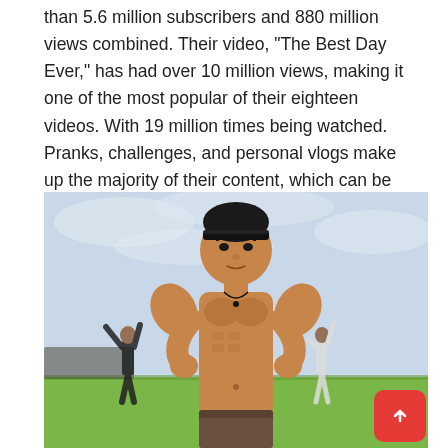than 5.6 million subscribers and 880 million views combined. Their video, "The Best Day Ever," has had over 10 million views, making it one of the most popular of their eighteen videos. With 19 million times being watched. Pranks, challenges, and personal vlogs make up the majority of their content, which can be seen on their channel.
[Figure (photo): A shirtless young man with a headband flexing both arms outdoors on a green field under a cloudy sky. In the background, two smaller figures stand with arms raised on either side.]